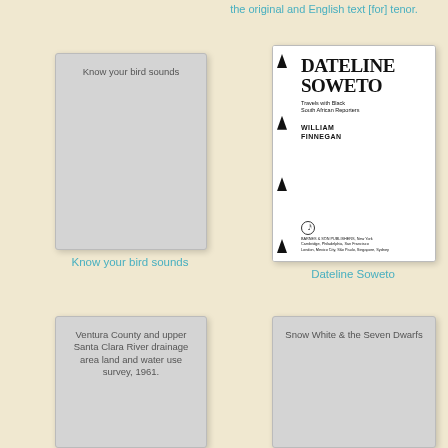the original and English text [for] tenor.
[Figure (illustration): Book cover placeholder for 'Know your bird sounds' - gray rectangle with title text]
Know your bird sounds
[Figure (illustration): Book cover for 'Dateline Soweto: Travels with Black South African Reporters' by William Finnegan, published by Barnes & Son Publishers]
Dateline Soweto
[Figure (illustration): Book cover placeholder for 'Ventura County and upper Santa Clara River drainage area land and water use survey, 1961.' - gray rectangle with title text]
[Figure (illustration): Book cover placeholder for 'Snow White & the Seven Dwarfs' - gray rectangle with title text]